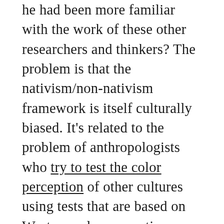he had been more familiar with the work of these other researchers and thinkers? The problem is that the nativism/non-nativism framework is itself culturally biased. It's related to the problem of anthropologists who try to test the color perception of other cultures using tests that are based on Western color perception. Everett's observations of the Pirahã, by the way, have also challenged that field of study — as he has made the claim that the Pirahã have no color terms and no particular use in discriminating colors. That deals with the relationship of language to cognition and perception